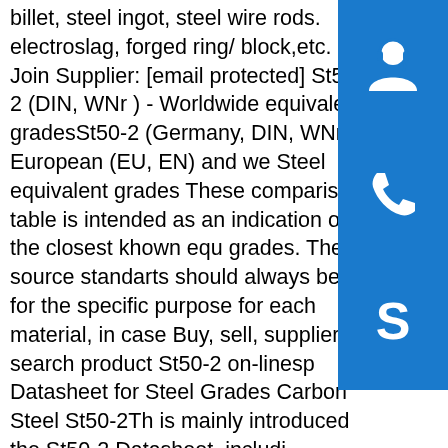billet, steel ingot, steel wire rods. electroslag, forged ring/ block,etc. Join Supplier: [email protected] St50-2 (DIN, WNr ) - Worldwide equivalent gradesSt50-2 (Germany, DIN, WNr ) - European (EU, EN) and world Steel equivalent grades These comparison table is intended as an indication of the closest khown equivalent grades. The source standarts should always be checked for the specific purpose for each material, in case of doubt. Buy, sell, suppliers search product St50-2 on-linesp.info Datasheet for Steel Grades Carbon Steel St50-2This is mainly introduced the St50-2 Datasheet, including chemical information,mechanical properties, physical properties, mechanical properties, heat treatment, and Micro structure, etc. It also contains the use of St50-2,such as it is commonly used in bars, sheet,plates, steel coils, steel pipes,forged and other materials application.sp.info Equivalents of Carbon Steel QualitiesHigh Yield Steel High yield strength cold forming steels Simple pressure vessels steel Stamping and cold forming steels Steel for Boilers
[Figure (illustration): Three blue sidebar buttons: headset/support icon, phone icon, Skype icon]